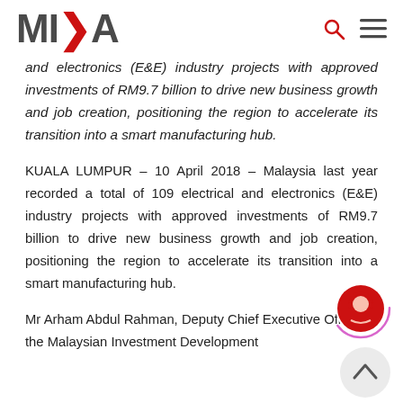MIDA
and electronics (E&E) industry projects with approved investments of RM9.7 billion to drive new business growth and job creation, positioning the region to accelerate its transition into a smart manufacturing hub.
KUALA LUMPUR – 10 April 2018 – Malaysia last year recorded a total of 109 electrical and electronics (E&E) industry projects with approved investments of RM9.7 billion to drive new business growth and job creation, positioning the region to accelerate its transition into a smart manufacturing hub.
Mr Arham Abdul Rahman, Deputy Chief Executive Officer of the Malaysian Investment Development